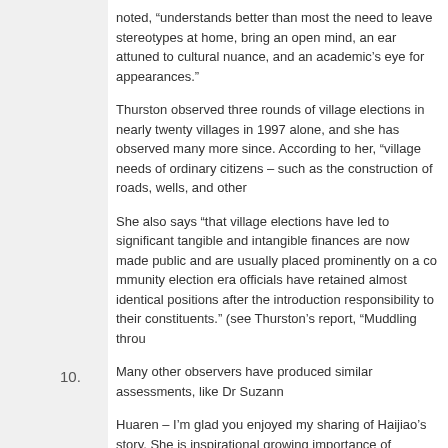noted, "understands better than most the need to leave stereotypes at home, bring an open mind, an ear attuned to cultural nuance, and an academic's eye for appearances."
Thurston observed three rounds of village elections in nearly twenty villages in 1997 alone, and she has observed many more since. According to her, "village elections... needs of ordinary citizens – such as the construction of roads, wells, and other...
She also says "that village elections have led to significant tangible and intangible... finances are now made public and are usually placed prominently on a community... election era officials have retained almost identical positions after the introduction... responsibility to their constituents." (see Thurston's report, "Muddling throu...
Many other observers have produced similar assessments, like Dr Suzann...
Huaren – I'm glad you enjoyed my sharing of Haijiao's story. She is inspirational... growing importance of education to village kids and their families.
One thing that I think we can all agree on – you, me, Raj, everyone – is that... educational facilities. But economic development is always going to be an... right question to consider then, as I said to Raj in an earlier comment on a... full, but whether the glass is in the process of being filled or emptied.
10.
Mark Anthony Jones Says:
April 16th, 2009 at 1:59 am
One more thing – I have noticed that some commenters here have a strong... whenever he leaves comments here. I'd like to second what Nimrod said in... personal.